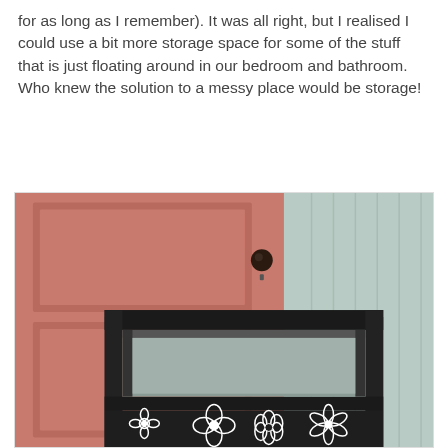for as long as I remember). It was all right, but I realised I could use a bit more storage space for some of the stuff that is just floating around in our bedroom and bathroom. Who knew the solution to a messy place would be storage!
[Figure (photo): A dark painted wooden shelving unit with white floral stencil designs on the lower drawer/panel, placed against a salmon/terracotta painted wall with paneling and a door with a round black knob. The shelf unit appears to be open/empty, showing a mirror or light-colored back panel inside.]